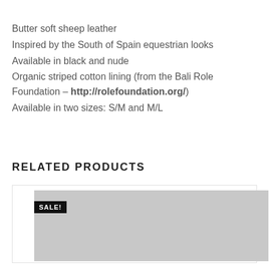Butter soft sheep leather
Inspired by the South of Spain equestrian looks
Available in black and nude
Organic striped cotton lining (from the Bali Role Foundation – http://rolefoundation.org/)
Available in two sizes: S/M and M/L
RELATED PRODUCTS
[Figure (photo): Product image placeholder with SALE! badge, light gray background]